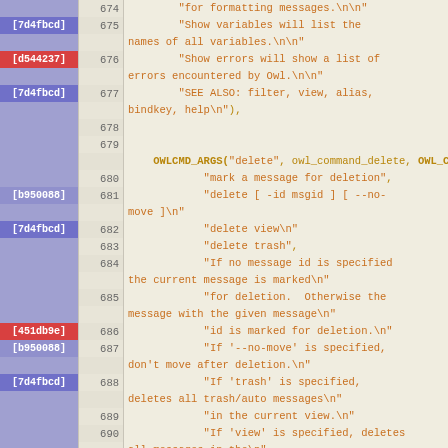[Figure (screenshot): Source code diff viewer showing lines 674-696 of a C source file with commit annotations. Lines show OWLCMD_ARGS and OWLCMD_ALIAS macro calls with string arguments for an owl command-line email client. Commit hashes are shown in colored blocks on the left: 7d4fbcd (blue-purple), d544237 (red), b950088 (lighter purple), 451db9e (red).]